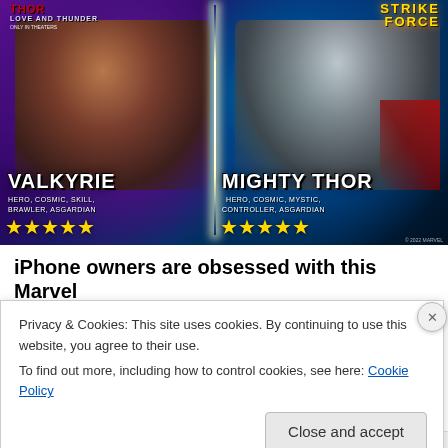[Figure (screenshot): Marvel Strike Force game promotional image showing two characters: Valkyrie (left, Hero, Cosmic, Skill, Brawler, Asgardian, 5 stars) and Mighty Thor (right, Hero, Cosmic, Mystic, Controller, Asgardian, 5 stars). Thor: Love and Thunder and Marvel Strike Force logos visible at top.]
iPhone owners are obsessed with this Marvel game
Privacy & Cookies: This site uses cookies. By continuing to use this website, you agree to their use.
To find out more, including how to control cookies, see here: Cookie Policy
Close and accept